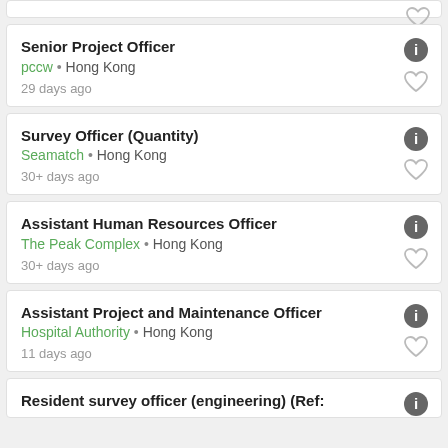Senior Project Officer
pccw • Hong Kong
29 days ago
Survey Officer (Quantity)
Seamatch • Hong Kong
30+ days ago
Assistant Human Resources Officer
The Peak Complex • Hong Kong
30+ days ago
Assistant Project and Maintenance Officer
Hospital Authority • Hong Kong
11 days ago
Resident survey officer (engineering) (Ref: